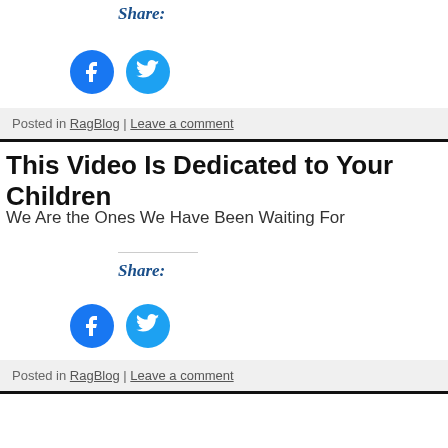Share:
[Figure (illustration): Facebook and Twitter social share icon buttons (circles)]
Posted in RagBlog | Leave a comment
This Video Is Dedicated to Your Children
We Are the Ones We Have Been Waiting For
Share:
[Figure (illustration): Facebook and Twitter social share icon buttons (circles)]
Posted in RagBlog | Leave a comment